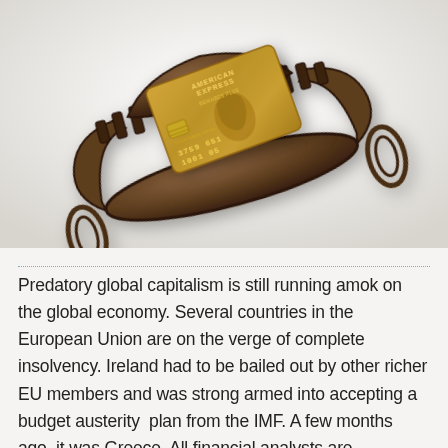[Figure (photo): A gold American Express credit card caught in a rusty antique bear trap / leg-hold trap, set against a light grey-white background. The trap's jaws are clamped around the card, symbolizing predatory financial debt.]
Predatory global capitalism is still running amok on the global economy. Several countries in the European Union are on the verge of complete insolvency. Ireland had to be bailed out by other richer EU members and was strong armed into accepting a budget austerity  plan from the IMF. A few months ago, it was Greece. All financial analysts are predicting